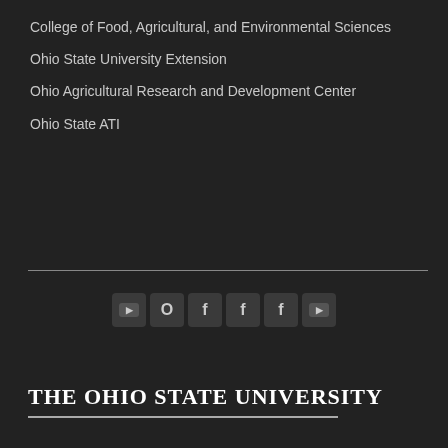College of Food, Agricultural, and Environmental Sciences
Ohio State University Extension
Ohio Agricultural Research and Development Center
Ohio State ATI
[Figure (infographic): Row of six social media icon buttons (YouTube, circle/Google+, Facebook x3, YouTube) displayed as small square icons with rounded corners on dark background]
The Ohio State University